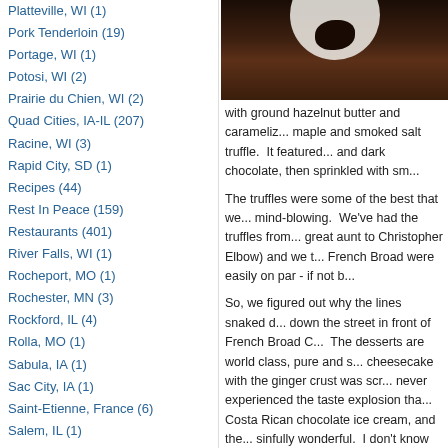Platteville, WI (1)
Pork Tenderloin (19)
Portage, WI (1)
Potosi, WI (2)
Prairie du Chien, WI (2)
Quad Cities, IA-IL (207)
Racine, WI (3)
Rapid City, SD (1)
Recipes (44)
Rest In Peace (159)
Restaurants (401)
River Falls, WI (1)
Rocheport, MO (1)
Rochester, MN (3)
Rockford, IL (4)
Rolla, MO (1)
Sabula, IA (1)
Sac City, IA (1)
Saint-Etienne, France (6)
Salem, IL (1)
Salina, KS (1)
Salisbury, U.K. (3)
San Antonio (4)
San Clemente, CA (1)
San Diego, CA (11)
San Francisco (1)
Sandwich Places and Delis (71)
[Figure (photo): Dark chocolate dessert on a white plate, dark background]
with ground hazelnut butter and carameliz... maple and smoked salt truffle. It featured... and dark chocolate, then sprinkled with sm...
The truffles were some of the best that we... mind-blowing. We've had the truffles from... great aunt to Christopher Elbow) and we t... French Broad were easily on par - if not b...
So, we figured out why the lines snaked d... down the street in front of French Broad C... The desserts are world class, pure and s... cheesecake with the ginger crust was scr... never experienced the taste explosion tha... Costa Rican chocolate ice cream, and the... sinfully wonderful. I don't know how anyo... restraint at French Broad Chocolate Loun... and delectable desserts they have to offe... to go back in the mornings for coffee and... we knew we'd go overboard on the desse... was truly one of the highlights of our trip t...
French Broad Chocolate Lounge Menu
October 12, 2017 in Asheville, NC, Guilty Pleasur...
Tweet  Like 0